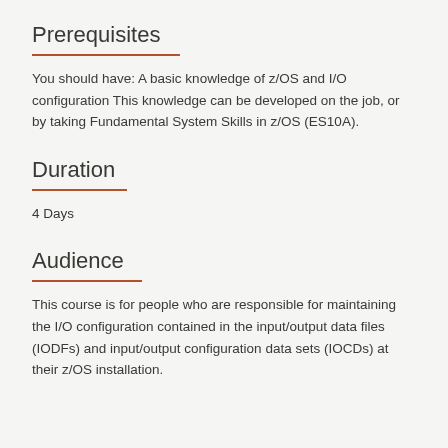Prerequisites
You should have: A basic knowledge of z/OS and I/O configuration This knowledge can be developed on the job, or by taking Fundamental System Skills in z/OS (ES10A).
Duration
4 Days
Audience
This course is for people who are responsible for maintaining the I/O configuration contained in the input/output data files (IODFs) and input/output configuration data sets (IOCDs) at their z/OS installation.